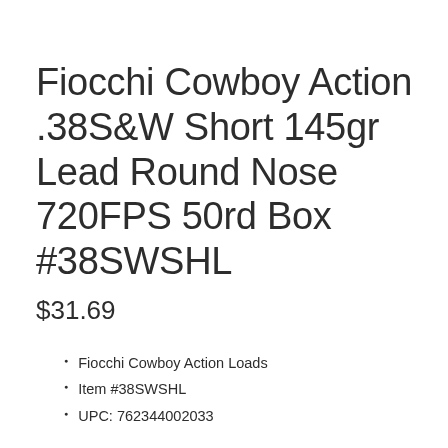Fiocchi Cowboy Action .38S&W Short 145gr Lead Round Nose 720FPS 50rd Box #38SWSHL
$31.69
Fiocchi Cowboy Action Loads
Item #38SWSHL
UPC: 762344002033